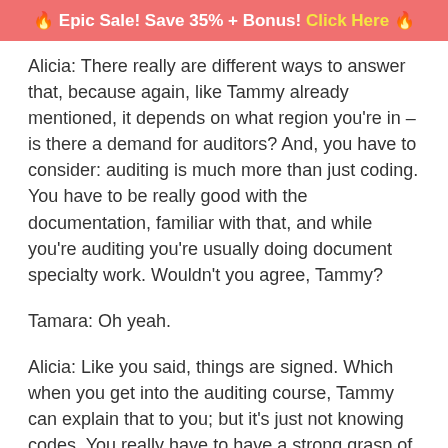🔥 Epic Sale! Save 35% + Bonus! Click Here 🔥
Alicia: There really are different ways to answer that, because again, like Tammy already mentioned, it depends on what region you're in – is there a demand for auditors? And, you have to consider: auditing is much more than just coding. You have to be really good with the documentation, familiar with that, and while you're auditing you're usually doing document specialty work. Wouldn't you agree, Tammy?
Tamara: Oh yeah.
Alicia: Like you said, things are signed. Which when you get into the auditing course, Tammy can explain that to you; but it's just not knowing codes. You really have to have a strong grasp of E/M like Tammy